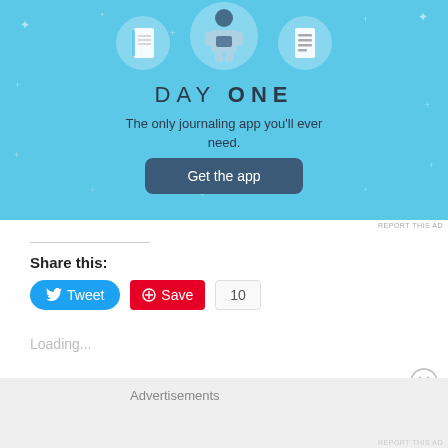[Figure (illustration): Day One journaling app advertisement with blue background, showing circular icons of a notebook, a person using a phone, and a list/document. Below the icons reads 'DAY ONE' and 'The only journaling app you'll ever need.' with a 'Get the app' button.]
REPORT THIS AD
Share this:
Tweet
Save
10
Loading...
Advertisements
REPORT THIS AD